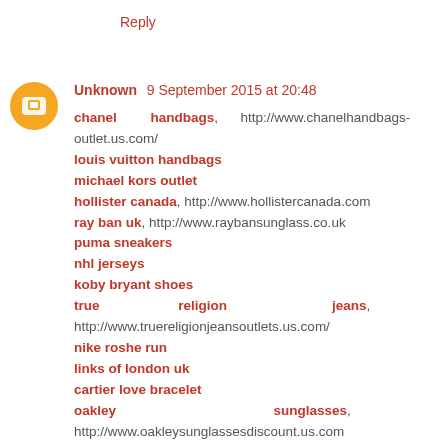Reply
Unknown 9 September 2015 at 20:48
chanel handbags, http://www.chanelhandbags-outlet.us.com/
louis vuitton handbags
michael kors outlet
hollister canada, http://www.hollistercanada.com
ray ban uk, http://www.raybansunglass.co.uk
puma sneakers
nhl jerseys
koby bryant shoes
true religion jeans, http://www.truereligionjeansoutlets.us.com/
nike roshe run
links of london uk
cartier love bracelet
oakley sunglasses, http://www.oakleysunglassesdiscount.us.com
ugg outlet, http://www.uggsoutlet.us.org
beats headphones